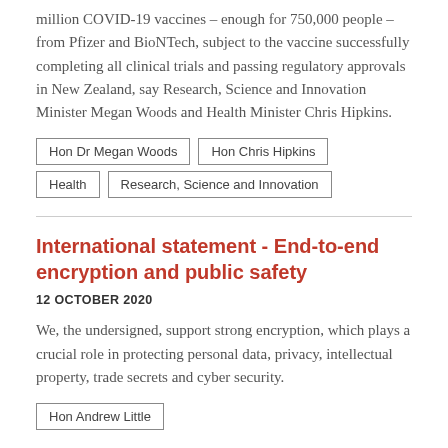million COVID-19 vaccines – enough for 750,000 people – from Pfizer and BioNTech, subject to the vaccine successfully completing all clinical trials and passing regulatory approvals in New Zealand, say Research, Science and Innovation Minister Megan Woods and Health Minister Chris Hipkins.
Hon Dr Megan Woods
Hon Chris Hipkins
Health
Research, Science and Innovation
International statement - End-to-end encryption and public safety
12 OCTOBER 2020
We, the undersigned, support strong encryption, which plays a crucial role in protecting personal data, privacy, intellectual property, trade secrets and cyber security.
Hon Andrew Little